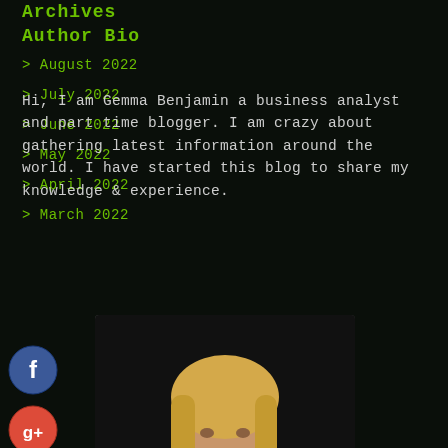Archives
Author Bio
> August 2022
> July 2022
> June 2022
> May 2022
> April 2022
> March 2022
Hi, I am Gemma Benjamin a business analyst and part time blogger. I am crazy about gathering latest information around the world. I have started this blog to share my knowledge & experience.
[Figure (photo): Photograph of a blonde woman in a black sleeveless dress against a dark background]
[Figure (infographic): Social media share buttons: Facebook (blue circle with f), Google+ (red circle with g+), Twitter (blue circle with bird), Add (blue circle with plus sign)]